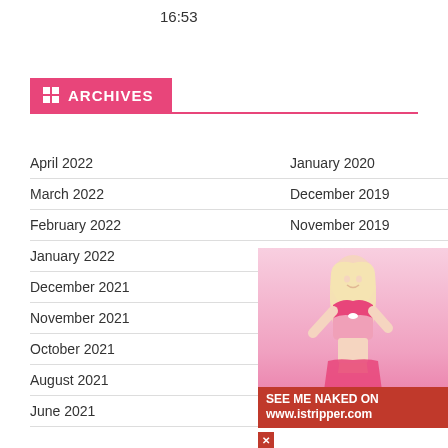16:53
ARCHIVES
April 2022
January 2020
March 2022
December 2019
February 2022
November 2019
January 2022
October 2019
December 2021
September 2019
November 2021
August 2019
October 2021
July 2019
August 2021
June 2019
June 2021
May 2019
[Figure (photo): Promotional image of a woman in pink lingerie with istripper.com advertisement banner]